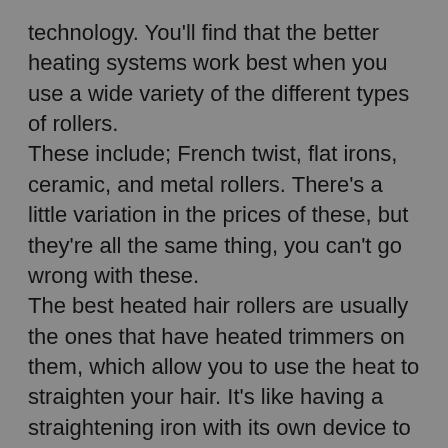technology. You'll find that the better heating systems work best when you use a wide variety of the different types of rollers.
These include; French twist, flat irons, ceramic, and metal rollers. There's a little variation in the prices of these, but they're all the same thing, you can't go wrong with these.
The best heated hair rollers are usually the ones that have heated trimmers on them, which allow you to use the heat to straighten your hair. It's like having a straightening iron with its own device to make sure your hair stays straight without too much damage.
The best heated hair rollers can make your hair very healthy. If you want your hair to be healthy and full, it needs some extra conditioning and